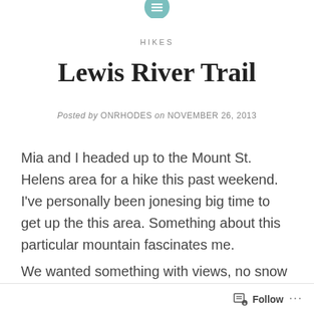[Figure (logo): Teal circular icon with list/menu lines at the top of the page]
HIKES
Lewis River Trail
Posted by ONRHODES on NOVEMBER 26, 2013
Mia and I headed up to the Mount St. Helens area for a hike this past weekend.  I've personally been jonesing big time to get up the this area.  Something about this particular mountain fascinates me.
We wanted something with views, no snow and a moderate distance.  Mia scoured our
Follow ...